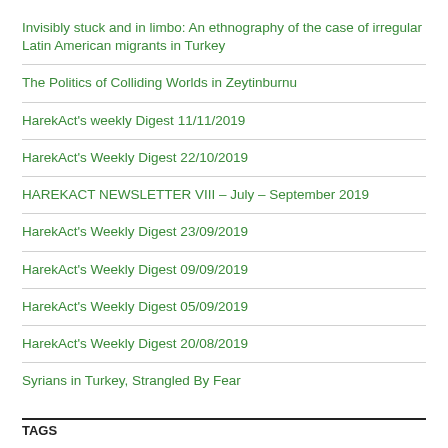Invisibly stuck and in limbo: An ethnography of the case of irregular Latin American migrants in Turkey
The Politics of Colliding Worlds in Zeytinburnu
HarekAct's weekly Digest 11/11/2019
HarekAct's Weekly Digest 22/10/2019
HAREKACT NEWSLETTER VIII – July – September 2019
HarekAct's Weekly Digest 23/09/2019
HarekAct's Weekly Digest 09/09/2019
HarekAct's Weekly Digest 05/09/2019
HarekAct's Weekly Digest 20/08/2019
Syrians in Turkey, Strangled By Fear
TAGS